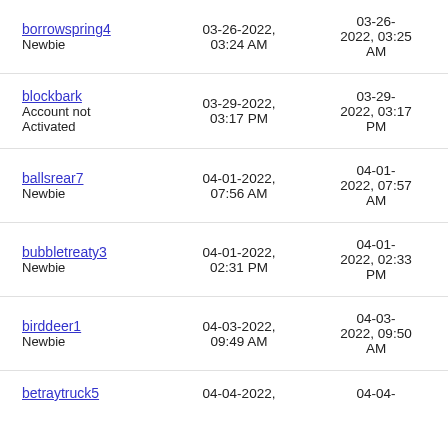| User | Joined | Last Visit | Posts |
| --- | --- | --- | --- |
| borrowspring4
Newbie | 03-26-2022, 03:24 AM | 03-26-2022, 03:25 AM | 0 |
| blockbark
Account not Activated | 03-29-2022, 03:17 PM | 03-29-2022, 03:17 PM | 0 |
| ballsrear7
Newbie | 04-01-2022, 07:56 AM | 04-01-2022, 07:57 AM | 0 |
| bubbletreaty3
Newbie | 04-01-2022, 02:31 PM | 04-01-2022, 02:33 PM | 0 |
| birddeer1
Newbie | 04-03-2022, 09:49 AM | 04-03-2022, 09:50 AM | 0 |
| betraytruck5
 | 04-04-2022, | 04-04- |  |